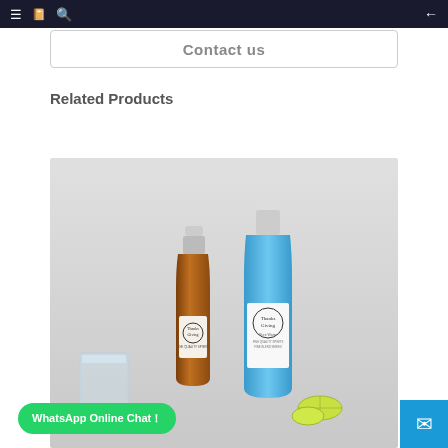Navigation bar with menu, catalog, search icons and back arrow
Contact us
Related Products
[Figure (photo): Product photo showing two decorative glass bottles — one amber/brown liquor bottle and one larger blue bottle labeled 'Thanks Giving', alongside a glass tumbler and lime slices on a light gray background.]
WhatsApp Online Chat！